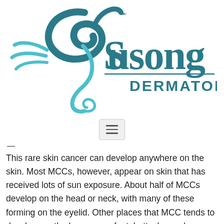[Figure (logo): Susong Dermatology logo with a stylized swan/S shape in teal/cyan and dark teal text reading 'Susong DERMATOLOGY']
[Figure (other): Hamburger menu button (three horizontal lines) on a light gray background]
This rare skin cancer can develop anywhere on the skin. Most MCCs, however, appear on skin that has received lots of sun exposure. About half of MCCs develop on the head or neck, with many of these forming on the eyelid. Other places that MCC tends to develop are the legs, arms, feet, buttocks, and